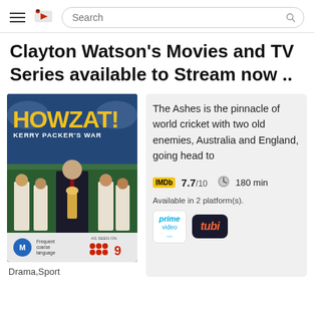Search
Clayton Watson's Movies and TV Series available to Stream now ..
[Figure (photo): Movie poster for 'Howzat! Kerry Packer's War' showing the title in bold yellow text, subtitle 'Kerry Packer's War' in white, group of cricket players behind a central figure in a suit, with M rating badge and 'AS SEEN ON 9' logo at the bottom]
The Ashes is the pinnacle of world cricket with two old enemies, Australia and England, going head to
7.7/10   180 min
Available in 2 platform(s).
Drama,Sport